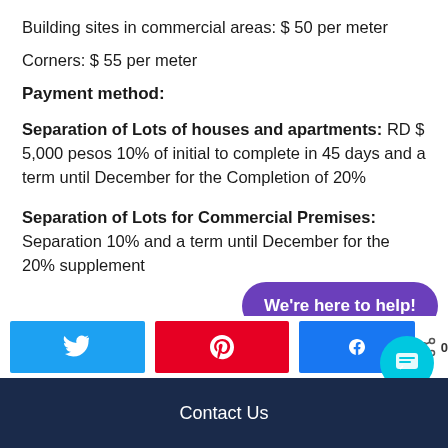Building sites in commercial areas: $ 50 per meter
Corners: $ 55 per meter
Payment method:
Separation of Lots of houses and apartments: RD $ 5,000 pesos 10% of initial to complete in 45 days and a term until December for the Completion of 20%
Separation of Lots for Commercial Premises: Separation 10% and a term until December for the 20% supplement
[Figure (infographic): Purple 'We're here to help!' chat bubble overlay with social sharing buttons (Twitter, Pinterest, Facebook) and a share count of 0]
Contact Us